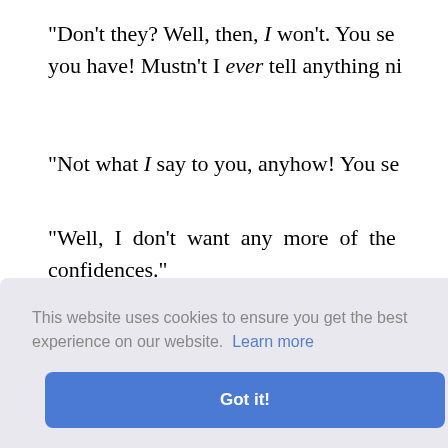"Don't they? Well, then, I won't. You se… you have! Mustn't I ever tell anything ni…
"Not what I say to you, anyhow! You se…
"Well, I don't want any more of the confidences."
"I fear, my dear little girl, you're desti… may go for."
"Oh, what a horrible outlook! Well, the… Chubsy, let's go up the hill." And putting…
…as going… ould like …
…rranged … ide down…
part way, and then decided it was too ha…
[Figure (screenshot): Cookie consent overlay with text 'This website uses cookies to ensure you get the best experience on our website. Learn more' and a 'Got it!' button.]